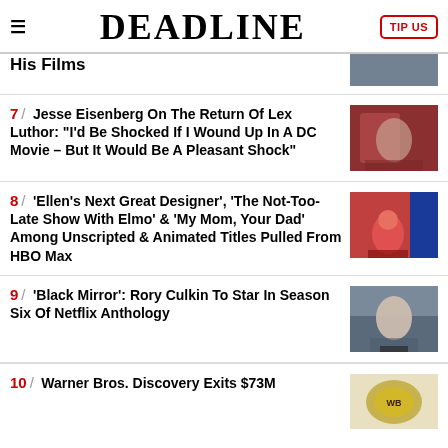DEADLINE
His Films
7 / Jesse Eisenberg On The Return Of Lex Luthor: "I'd Be Shocked If I Wound Up In A DC Movie – But It Would Be A Pleasant Shock"
8 / 'Ellen's Next Great Designer', 'The Not-Too-Late Show With Elmo' & 'My Mom, Your Dad' Among Unscripted & Animated Titles Pulled From HBO Max
9 / 'Black Mirror': Rory Culkin To Star In Season Six Of Netflix Anthology
10 / Warner Bros. Discovery Exits $73M...